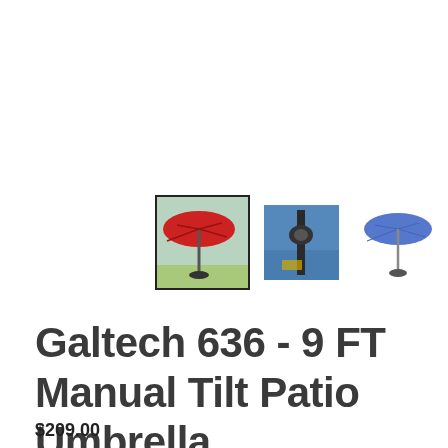[Figure (photo): Three thumbnail images of a patio umbrella: first shows a red umbrella open outdoors (selected, with dark border), second shows a close-up of the umbrella pole/mechanism near a pool, third shows a blue umbrella open against a white background.]
Galtech 636 - 9 FT Manual Tilt Patio Umbrella
$209.00